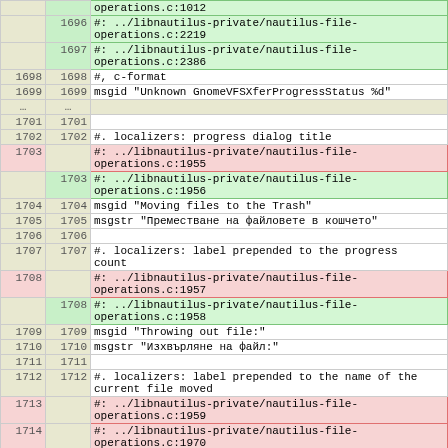| old | new | code |
| --- | --- | --- |
|  | 1696 | #: ../libnautilus-private/nautilus-file-operations.c:2219 |
|  | 1697 | #: ../libnautilus-private/nautilus-file-operations.c:2386 |
| 1698 | 1698 | #, c-format |
| 1699 | 1699 | msgid "Unknown GnomeVFSXferProgressStatus %d" |
| … | … |  |
| 1701 | 1701 |  |
| 1702 | 1702 | #. localizers: progress dialog title |
| 1703 |  | #: ../libnautilus-private/nautilus-file-operations.c:1955 |
|  | 1703 | #: ../libnautilus-private/nautilus-file-operations.c:1956 |
| 1704 | 1704 | msgid "Moving files to the Trash" |
| 1705 | 1705 | msgstr "Преместване на файловете в кошчето" |
| 1706 | 1706 |  |
| 1707 | 1707 | #. localizers: label prepended to the progress count |
| 1708 |  | #: ../libnautilus-private/nautilus-file-operations.c:1957 |
|  | 1708 | #: ../libnautilus-private/nautilus-file-operations.c:1958 |
| 1709 | 1709 | msgid "Throwing out file:" |
| 1710 | 1710 | msgstr "Изхвърляне на файл:" |
| 1711 | 1711 |  |
| 1712 | 1712 | #. localizers: label prepended to the name of the current file moved |
| 1713 |  | #: ../libnautilus-private/nautilus-file-operations.c:1959 |
| 1714 |  | #: ../libnautilus-private/nautilus-file-operations.c:1970 |
|  | 1713 | #: ../libnautilus-private/nautilus-file-operations.c:1960 |